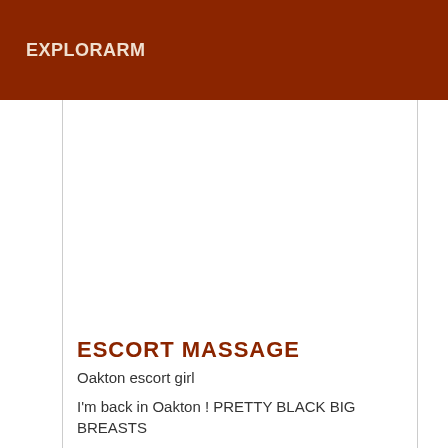EXPLORARM
ESCORT MASSAGE
Oakton escort girl
I'm back in Oakton ! PRETTY BLACK BIG BREASTS